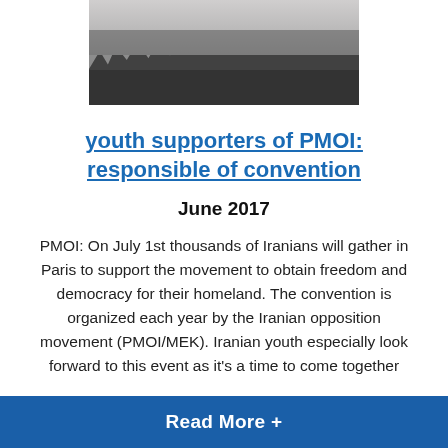[Figure (photo): Crowd of people standing together, mostly wearing dark clothing, photographed from the front]
youth supporters of PMOI: responsible of convention
June 2017
PMOI: On July 1st thousands of Iranians will gather in Paris to support the movement to obtain freedom and democracy for their homeland. The convention is organized each year by the Iranian opposition movement (PMOI/MEK). Iranian youth especially look forward to this event as it’s a time to come together
Read More +